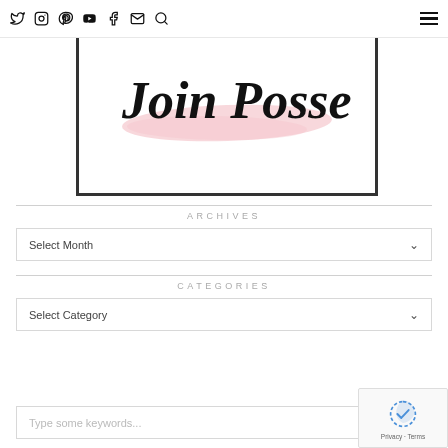Navigation bar with social icons: Twitter, Instagram, Pinterest, YouTube, Facebook, Email, Search, and hamburger menu
[Figure (illustration): Join Posse script text logo with pink brushstroke underline, inside a dark bordered rectangle]
ARCHIVES
Select Month
CATEGORIES
Select Category
Type some keywords...